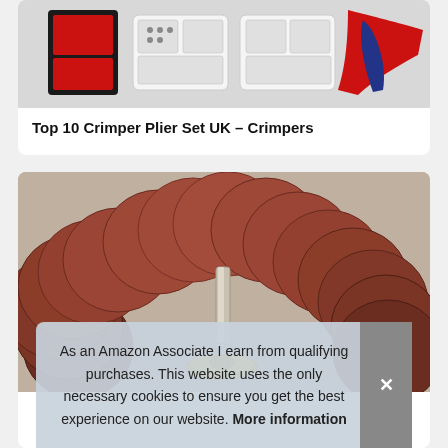[Figure (photo): Product image showing a crimper plier set with accessories in a box, partially visible at top of page]
Top 10 Crimper Plier Set UK – Crimpers
[Figure (photo): Sanding discs arranged in an arc/fan shape around a mandrel with yellow backing pad, dark reddish-brown abrasive discs]
As an Amazon Associate I earn from qualifying purchases. This website uses the only necessary cookies to ensure you get the best experience on our website. More information